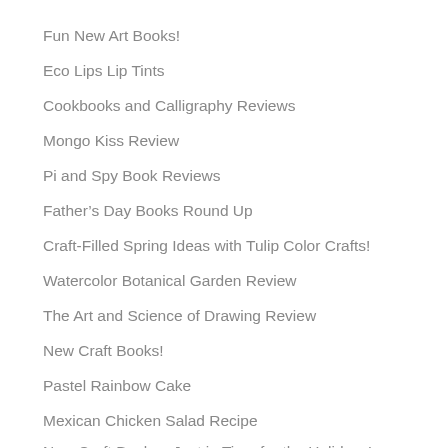Fun New Art Books!
Eco Lips Lip Tints
Cookbooks and Calligraphy Reviews
Mongo Kiss Review
Pi and Spy Book Reviews
Father's Day Books Round Up
Craft-Filled Spring Ideas with Tulip Color Crafts!
Watercolor Botanical Garden Review
The Art and Science of Drawing Review
New Craft Books!
Pastel Rainbow Cake
Mexican Chicken Salad Recipe
New Craft Books - Just in Time for the Holidays!